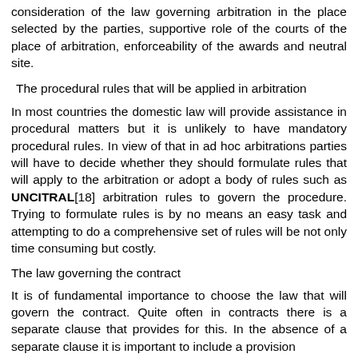consideration of the law governing arbitration in the place selected by the parties, supportive role of the courts of the place of arbitration, enforceability of the awards and neutral site.
The procedural rules that will be applied in arbitration
In most countries the domestic law will provide assistance in procedural matters but it is unlikely to have mandatory procedural rules. In view of that in ad hoc arbitrations parties will have to decide whether they should formulate rules that will apply to the arbitration or adopt a body of rules such as UNCITRAL[18] arbitration rules to govern the procedure. Trying to formulate rules is by no means an easy task and attempting to do a comprehensive set of rules will be not only time consuming but costly.
The law governing the contract
It is of fundamental importance to choose the law that will govern the contract. Quite often in contracts there is a separate clause that provides for this. In the absence of a separate clause it is important to include a provision